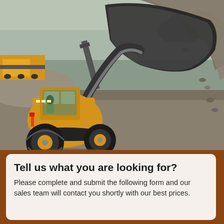[Figure (photo): A yellow Volvo wheel loader at a construction/quarry site, tilting its large bucket to dump gravel or aggregate material. The operator is visible in the cab wearing a high-visibility vest. In the background there are trucks, a conveyor belt, piles of earth, and trees under an overcast sky.]
Tell us what you are looking for?
Please complete and submit the following form and our sales team will contact you shortly with our best prices.